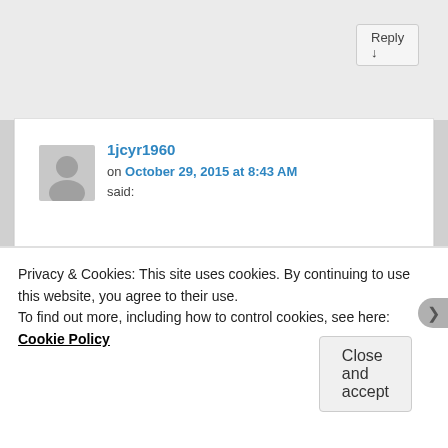Reply ↓
1jcyr1960
on October 29, 2015 at 8:43 AM said:
Thank you for taking the time to read!
★ Like
Reply ↓
Privacy & Cookies: This site uses cookies. By continuing to use this website, you agree to their use.
To find out more, including how to control cookies, see here: Cookie Policy
Close and accept